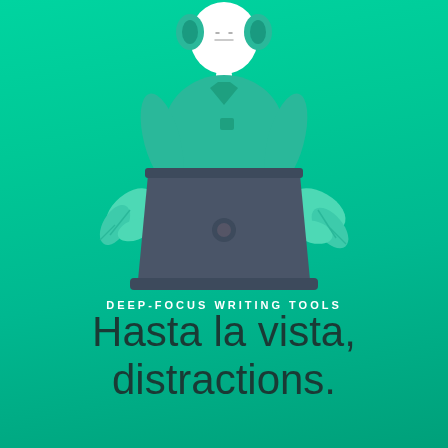[Figure (illustration): Flat illustration of a person with a calm expression, wearing a teal shirt, sitting behind a dark laptop. Decorative leaves flank the laptop on both sides. Teal/green gradient background.]
DEEP-FOCUS WRITING TOOLS
Hasta la vista, distractions.